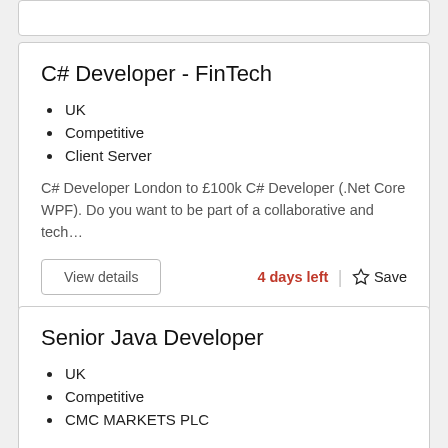C# Developer - FinTech
UK
Competitive
Client Server
C# Developer London to £100k C# Developer (.Net Core WPF). Do you want to be part of a collaborative and tech…
View details | 4 days left | ☆ Save
Senior Java Developer
UK
Competitive
CMC MARKETS PLC